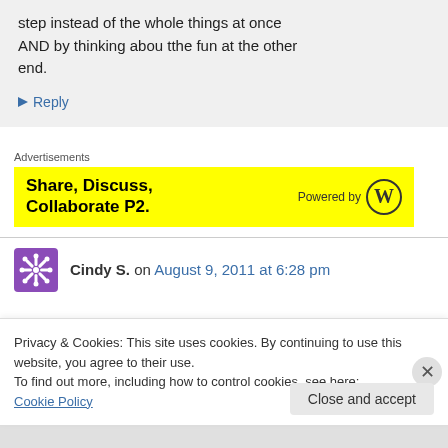step instead of the whole things at once AND by thinking abou tthe fun at the other end.
↳ Reply
Advertisements
[Figure (other): Yellow advertisement banner: 'Share, Discuss, Collaborate P2.' with WordPress 'Powered by' logo on the right]
Cindy S. on August 9, 2011 at 6:28 pm
Privacy & Cookies: This site uses cookies. By continuing to use this website, you agree to their use.
To find out more, including how to control cookies, see here: Cookie Policy
Close and accept